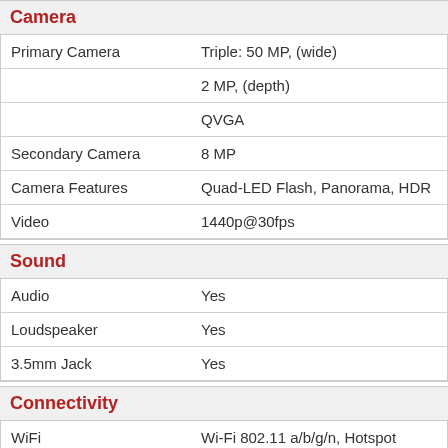Camera
| Feature | Value |
| --- | --- |
| Primary Camera | Triple: 50 MP, (wide) |
|  | 2 MP, (depth) |
|  | QVGA |
| Secondary Camera | 8 MP |
| Camera Features | Quad-LED Flash, Panorama, HDR |
| Video | 1440p@30fps |
Sound
| Feature | Value |
| --- | --- |
| Audio | Yes |
| Loudspeaker | Yes |
| 3.5mm Jack | Yes |
Connectivity
| Feature | Value |
| --- | --- |
| WiFi | Wi-Fi 802.11 a/b/g/n, Hotspot |
| Bluetooth | 5.0, A2DP, LE |
| NFC | Yes |